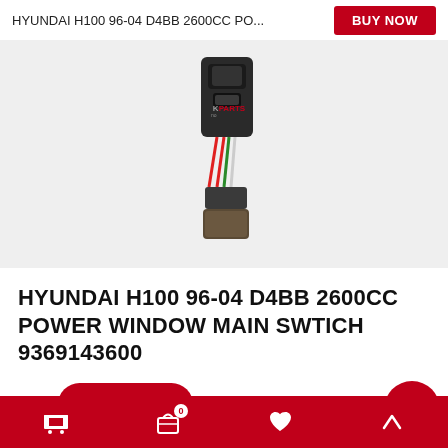HYUNDAI H100 96-04 D4BB 2600CC PO...
[Figure (photo): Photo of a Hyundai H100 power window main switch (part number 9369143600) with colored wiring harness, black switch unit and connector, on a white background. Watermark reads KPARTS.]
HYUNDAI H100 96-04 D4BB 2600CC POWER WINDOW MAIN SWTICH 9369143600
Chat with us | Cart | Favorites | Up